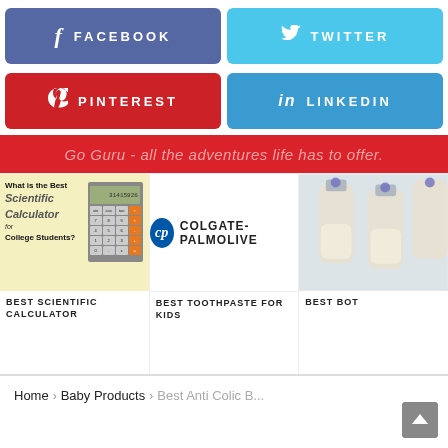[Figure (other): Facebook share button (blue-purple)]
[Figure (other): Twitter share button (light blue)]
[Figure (other): Pinterest share button (red)]
[Figure (other): LinkedIn share button (blue)]
Go Guru - all the adventures life has to offer.
[Figure (photo): What is the Best Scientific Calculator for College Students? - calculator image]
BEST SCIENTIFIC CALCULATOR
[Figure (logo): Colgate-Palmolive logo]
BEST TOOTHPASTE FOR KIDS
[Figure (photo): Baby bottles photo (partially visible)]
BEST BOT
Home › Baby Products › Best Anti Colic B...